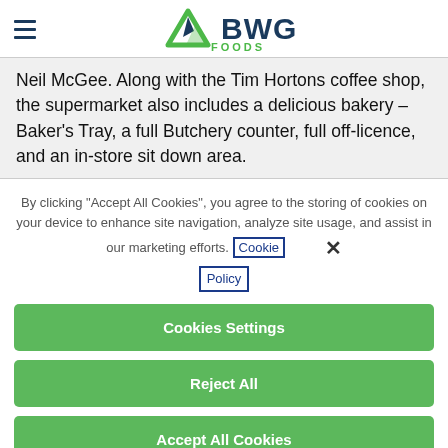BWG Foods
Neil McGee. Along with the Tim Hortons coffee shop, the supermarket also includes a delicious bakery – Baker's Tray, a full Butchery counter, full off-licence, and an in-store sit down area.
By clicking "Accept All Cookies", you agree to the storing of cookies on your device to enhance site navigation, analyze site usage, and assist in our marketing efforts. Cookie Policy
Cookies Settings
Reject All
Accept All Cookies